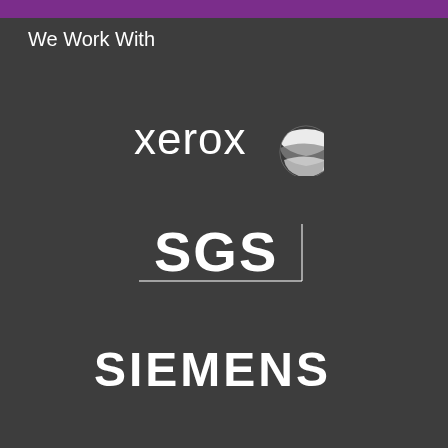We Work With
[Figure (logo): Xerox logo — lowercase 'xerox' text in white with a stylized sphere/globe icon in white/grey on a dark grey background]
[Figure (logo): SGS logo — bold white 'SGS' letters with a horizontal line beneath and a vertical line to the right, forming an L-shape, on a dark grey background]
[Figure (logo): Siemens logo — bold white uppercase 'SIEMENS' text on a dark grey background]